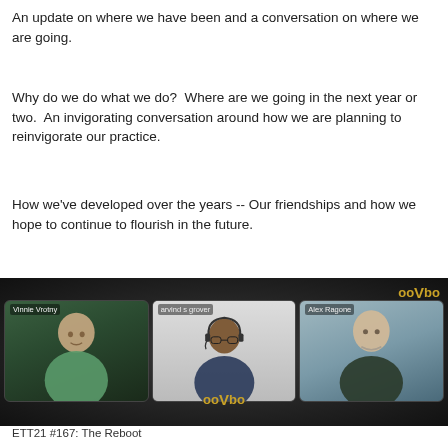An update on where we have been and a conversation on where we are going.
Why do we do what we do?  Where are we going in the next year or two.  An invigorating conversation around how we are planning to reinvigorate our practice.
How we've developed over the years -- Our friendships and how we hope to continue to flourish in the future.
[Figure (screenshot): ooVoo video call screenshot with three participants: Vinnie Vrotny, arvind s grover, and Alex Ragone, with ooVoo logo in top right and bottom center, on dark background.]
ETT21 #167: The Reboot